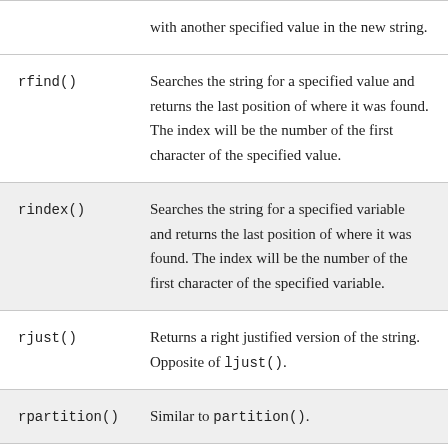| Method | Description |
| --- | --- |
|  | with another specified value in the new string. |
| rfind() | Searches the string for a specified value and returns the last position of where it was found. The index will be the number of the first character of the specified value. |
| rindex() | Searches the string for a specified variable and returns the last position of where it was found. The index will be the number of the first character of the specified variable. |
| rjust() | Returns a right justified version of the string. Opposite of ljust(). |
| rpartition() | Similar to partition(). |